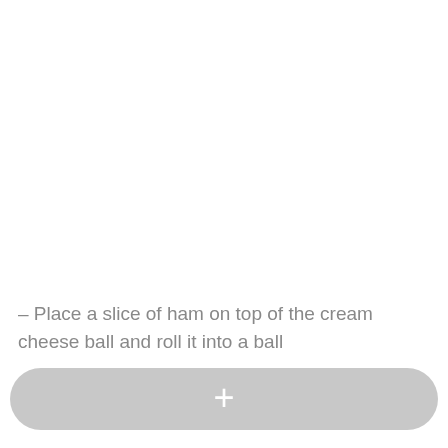– Place a slice of ham on top of the cream cheese ball and roll it into a ball
[Figure (other): A rounded gray button with a plus (+) symbol, used as an add/action button at the bottom of a mobile UI screen.]